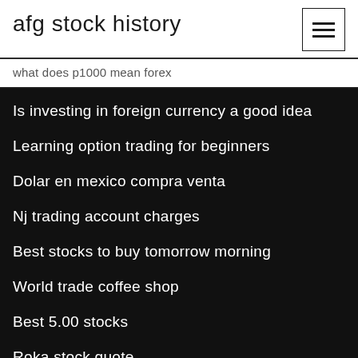afg stock history
what does p1000 mean forex
Is investing in foreign currency a good idea
Learning option trading for beginners
Dolar en mexico compra venta
Nj trading account charges
Best stocks to buy tomorrow morning
World trade coffee shop
Best 5.00 stocks
Roka stock quote
Best forex news update
Gold lot 1a heinz field